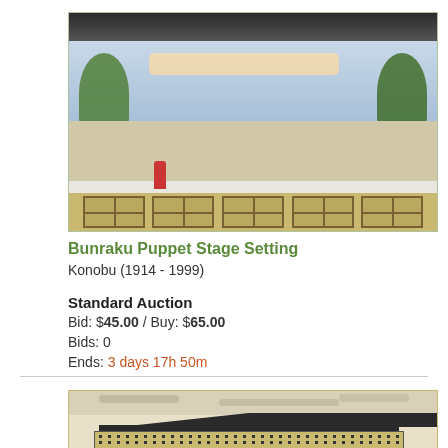[Figure (illustration): Bunraku puppet stage setting woodblock print with figures, trees, and decorative fence panels at bottom]
Bunraku Puppet Stage Setting
Konobu (1914 - 1999)
Standard Auction
Bid: $45.00 / Buy: $65.00
Bids: 0
Ends: 3 days 17h 50m
[Figure (illustration): Japanese building/temple woodblock print in black ink style]